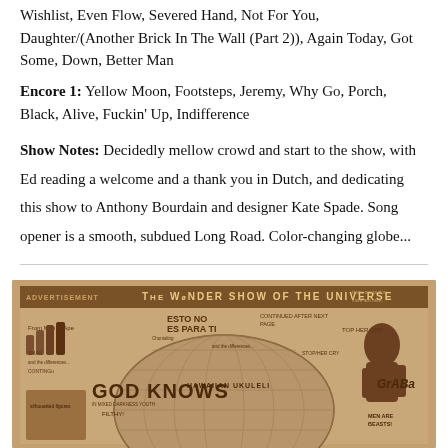Wishlist, Even Flow, Severed Hand, Not For You, Daughter/(Another Brick In The Wall (Part 2)), Again Today, Got Some, Down, Better Man
Encore 1: Yellow Moon, Footsteps, Jeremy, Why Go, Porch, Black, Alive, Fuckin' Up, Indifference
Show Notes: Decidedly mellow crowd and start to the show, with Ed reading a welcome and a thank you in Dutch, and dedicating this show to Anthony Bourdain and designer Kate Spade. Song opener is a smooth, subdued Long Road. Color-changing globe...
[Figure (illustration): Vintage-style advertisement illustration for 'The Wonder Show of the Universe' with text including 'God Knows', 'Hawaiian Ukuleli', 'From Man to Ape', and various other text elements, rendered in brown/sepia tones on a tan background with a globe motif.]